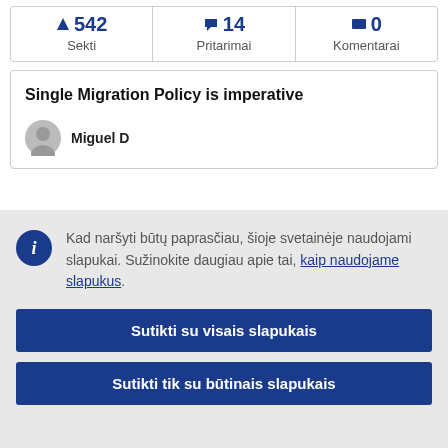| Sekti | Pritarimai | Komentarai |
| --- | --- | --- |
| ▲ 542 | 📢 14 | 🗨 0 |
Single Migration Policy is imperative
Miguel D
Kad naršyti būtų paprasčiau, šioje svetainėje naudojami slapukai. Sužinokite daugiau apie tai, kaip naudojame slapukus.
Sutikti su visais slapukais
Sutikti tik su būtinais slapukais